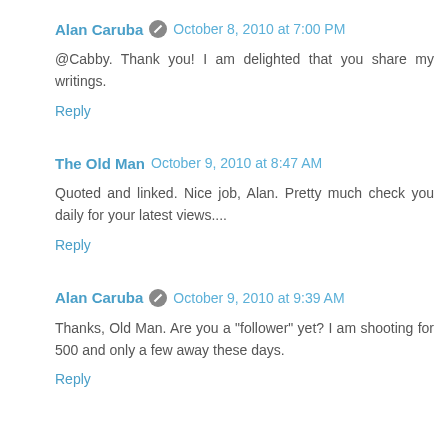Alan Caruba · October 8, 2010 at 7:00 PM
@Cabby. Thank you! I am delighted that you share my writings.
Reply
The Old Man October 9, 2010 at 8:47 AM
Quoted and linked. Nice job, Alan. Pretty much check you daily for your latest views....
Reply
Alan Caruba · October 9, 2010 at 9:39 AM
Thanks, Old Man. Are you a "follower" yet? I am shooting for 500 and only a few away these days.
Reply